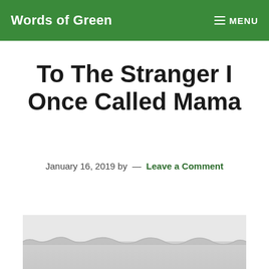Words of Green  MENU
To The Stranger I Once Called Mama
January 16, 2019 by — Leave a Comment
[Figure (photo): Torn piece of paper on a light grey background, showing a rippled tear edge]